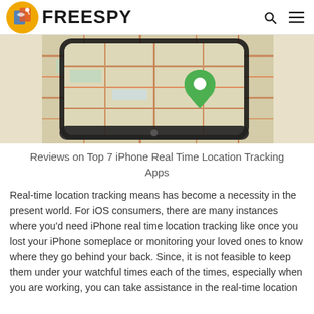FREESPY
[Figure (photo): A smartphone displaying a road map with a green location pin marker on top, lying on a printed road map of New Orleans area.]
Reviews on Top 7 iPhone Real Time Location Tracking Apps
Real-time location tracking means has become a necessity in the present world. For iOS consumers, there are many instances where you'd need iPhone real time location tracking like once you lost your iPhone someplace or monitoring your loved ones to know where they go behind your back. Since, it is not feasible to keep them under your watchful times each of the times, especially when you are working, you can take assistance in the real-time location